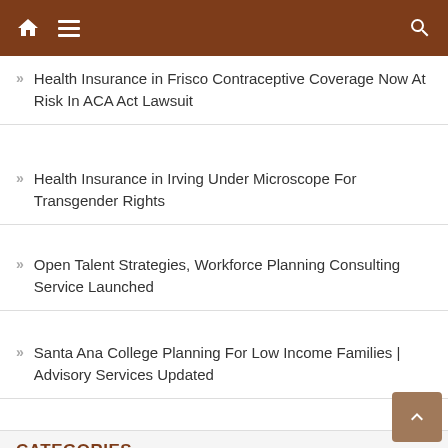Navigation bar with home, menu, and search icons
Health Insurance in Frisco Contraceptive Coverage Now At Risk In ACA Act Lawsuit
Health Insurance in Irving Under Microscope For Transgender Rights
Open Talent Strategies, Workforce Planning Consulting Service Launched
Santa Ana College Planning For Low Income Families | Advisory Services Updated
CATEGORIES
Cloud PRWire
Fitness
Health Care